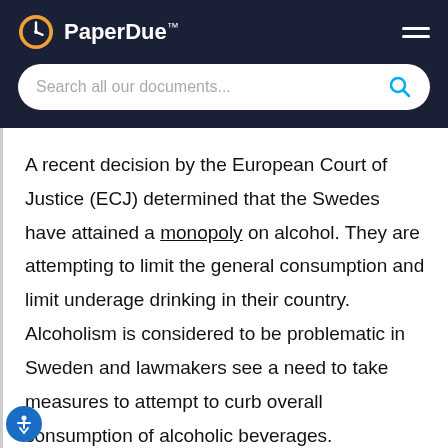PaperDue™
A recent decision by the European Court of Justice (ECJ) determined that the Swedes have attained a monopoly on alcohol. They are attempting to limit the general consumption and limit underage drinking in their country. Alcoholism is considered to be problematic in Sweden and lawmakers see a need to take measures to attempt to curb overall consumption of alcoholic beverages.